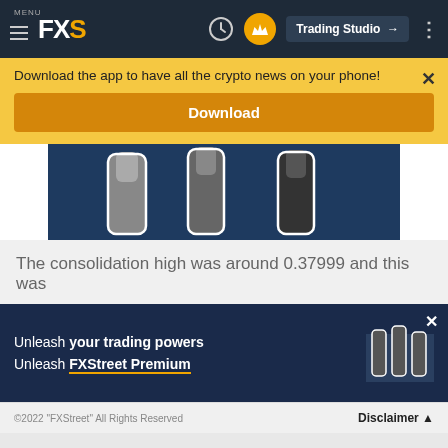[Figure (screenshot): FXStreet website navigation bar with logo FXS, clock icon, crown/premium icon, Trading Studio button, and menu dots]
Download the app to have all the crypto news on your phone!
Download
[Figure (photo): Partially visible photo of raised fists/arms with a blue background, black and white style]
The consolidation high was around 0.37999 and this was
[Figure (infographic): FXStreet Premium advertisement banner with text 'Unleash your trading powers Unleash FXStreet Premium' and raised fists image on blue background]
©2022 "FXStreet" All Rights Reserved    Disclaimer ▲